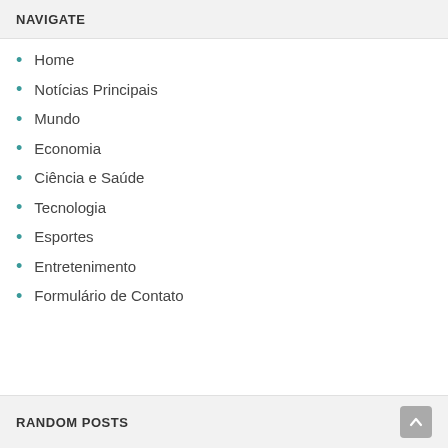NAVIGATE
Home
Notícias Principais
Mundo
Economia
Ciência e Saúde
Tecnologia
Esportes
Entretenimento
Formulário de Contato
RANDOM POSTS